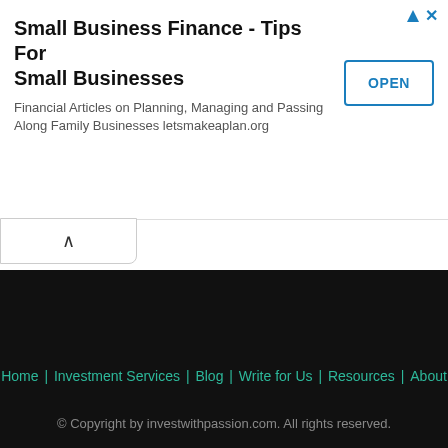[Figure (screenshot): Advertisement banner for 'Small Business Finance - Tips For Small Businesses' from letsmakeaplan.org with an OPEN button]
Home | Investment Services | Blog | Write for Us | Resources | About
© Copyright by investwithpassion.com. All rights reserved.